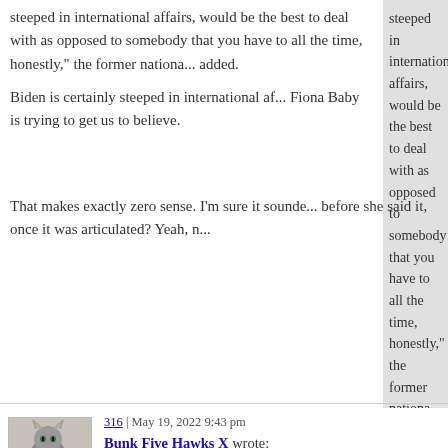steeped in international affairs, would be the best to deal with as opposed to somebody that you have to all the time, honestly," the former nationa... added.
Biden is certainly steeped in international af... Fiona Baby is trying to get us to believe.
That makes exactly zero sense. I'm sure it sounde... before she said it, once it was articulated? Yeah, n...
316 | May 19, 2022 9:43 pm
[Figure (photo): Avatar photo of a cat sitting at a keyboard/piano with a blue toy]
AZfederalist
Bunk Five Hawks X wrote:
Funny. Sort of. In my world it would be, "I am de... Blam! Now you are really dead! Blam! Blam! Jus...